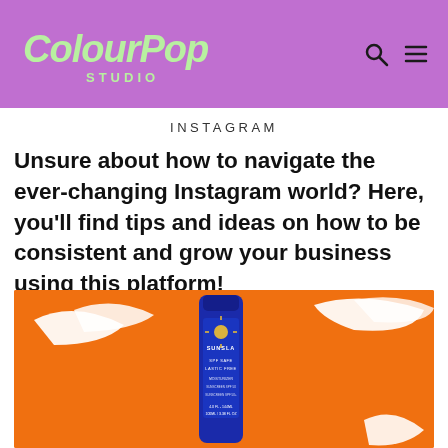ColourPop Studio
INSTAGRAM
Unsure about how to navigate the ever-changing Instagram world? Here, you'll find tips and ideas on how to be consistent and grow your business using this platform!
[Figure (photo): A blue SUNSLA (sunscreen/moisturizer) tube product on an orange background with white cream swashes.]